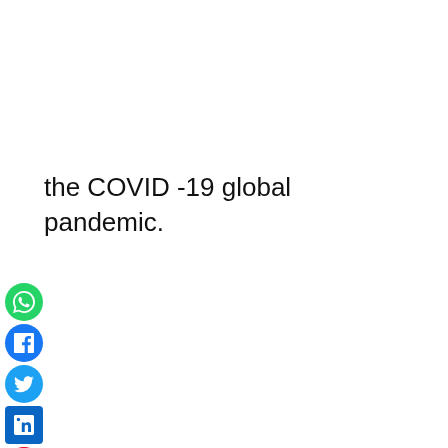the COVID -19 global pandemic.
[Figure (other): Vertical column of social share icons: WhatsApp (green), Facebook (blue), Twitter (blue bird), LinkedIn (blue), Pinterest (red), Reddit (orange), Email (red envelope), Print (blue printer)]
metrostarng.com wants to play speech